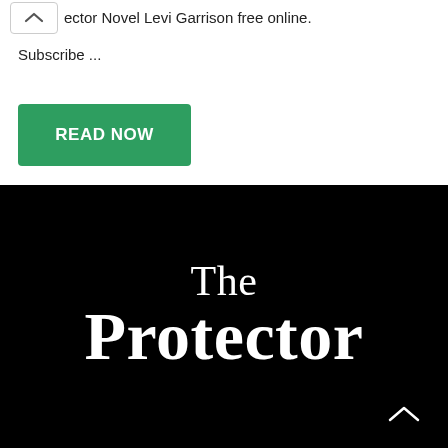ector Novel Levi Garrison free online. Subscribe ...
READ NOW
[Figure (illustration): Black background book cover image titled 'The Protector' in large white serif font]